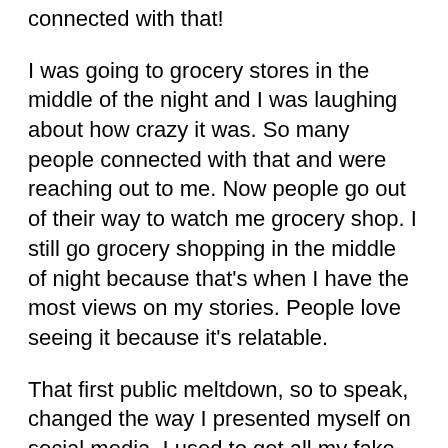connected with that!
I was going to grocery stores in the middle of the night and I was laughing about how crazy it was. So many people connected with that and were reaching out to me. Now people go out of their way to watch me grocery shop. I still go grocery shopping in the middle of night because that's when I have the most views on my stories. People love seeing it because it's relatable.
That first public meltdown, so to speak, changed the way I presented myself on social media. I used to get all my fake backdrops and props out, and try to be as clean and precise as possible, but when I let my guard